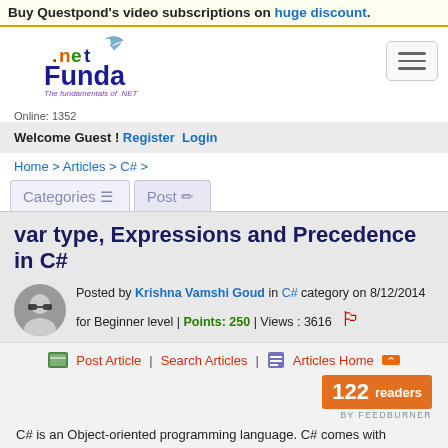Buy Questpond's video subscriptions on huge discount.
[Figure (logo): .net Funda logo with tagline 'The fundamentals of .NET' and Online: 1352]
Welcome Guest ! Register  Login
Home > Articles > C# >
Categories  Post
var type, Expressions and Precedence in C#
Posted by Krishna Vamshi Goud in C# category on 8/12/2014 for Beginner level | Points: 250 | Views : 3616
Post Article | Search Articles | Articles Home
C# is an Object-oriented programming language. C# comes with